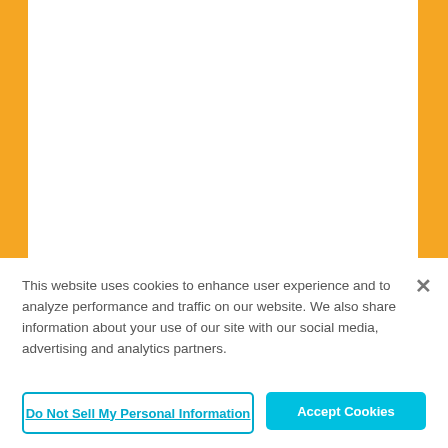12 Piece Chalk Holder with Carry Case and Eraser for Kids, Teachers Day, Students
$6.99
This website uses cookies to enhance user experience and to analyze performance and traffic on our website. We also share information about your use of our site with our social media, advertising and analytics partners.
Do Not Sell My Personal Information
Accept Cookies